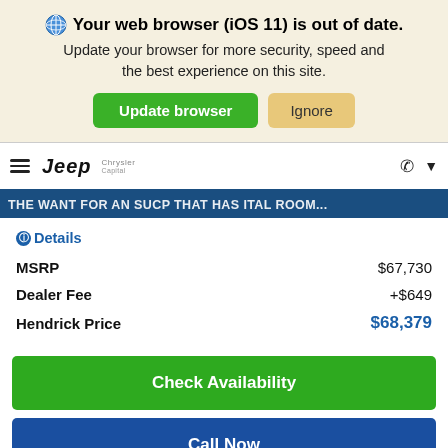Your web browser (iOS 11) is out of date. Update your browser for more security, speed and the best experience on this site. [Update browser] [Ignore]
[Figure (screenshot): Navigation bar with hamburger menu, Jeep logo, Chrysler Capital logo, phone icon and chevron]
[Figure (screenshot): Blue banner with partially visible promotional text]
| MSRP | $67,730 |
| Dealer Fee | +$649 |
| Hendrick Price | $68,379 |
Check Availability
Call Now
Buy Online